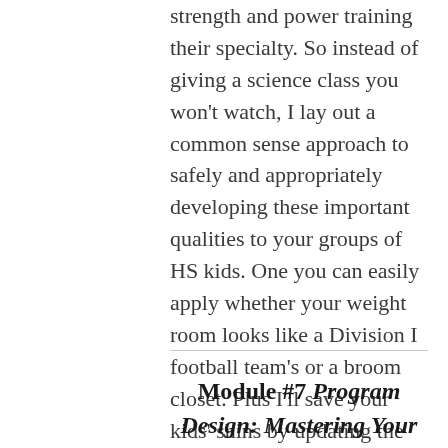strength and power training their specialty. So instead of giving a science class you won't watch, I lay out a common sense approach to safely and appropriately developing these important qualities to your groups of HS kids. One you can easily apply whether your weight room looks like a Division I football team's or a broom closet. Plus I'll save your kids' shins by updating the way you teach plyos.
Module #7 Program Design: Mastering Your Short & Long